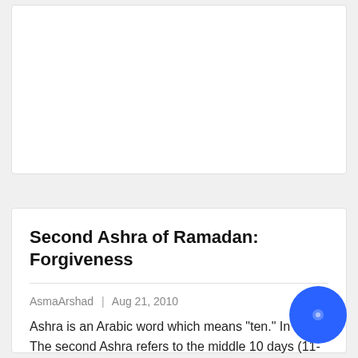[Figure (other): Top card placeholder image area, white/empty background with border]
Second Ashra of Ramadan: Forgiveness
AsmaArshad | Aug 21, 2010
Ashra is an Arabic word which means “ten.” In Islam, The second Ashra refers to the middle 10 days (11-20) of The holy month of Ramadan.